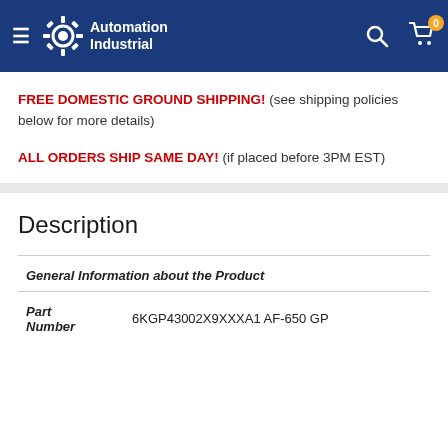Automation Industrial
FREE DOMESTIC GROUND SHIPPING! (see shipping policies below for more details)
ALL ORDERS SHIP SAME DAY! (if placed before 3PM EST)
Description
| General Information about the Product |  |
| Part
Number | 6KGP43002X9XXXA1 AF-650 GP |